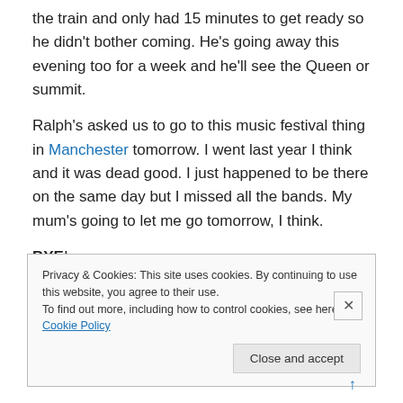the train and only had 15 minutes to get ready so he didn't bother coming. He's going away this evening too for a week and he'll see the Queen or summit.
Ralph's asked us to go to this music festival thing in Manchester tomorrow. I went last year I think and it was dead good. I just happened to be there on the same day but I missed all the bands. My mum's going to let me go tomorrow, I think.
BYE!
Privacy & Cookies: This site uses cookies. By continuing to use this website, you agree to their use. To find out more, including how to control cookies, see here: Cookie Policy